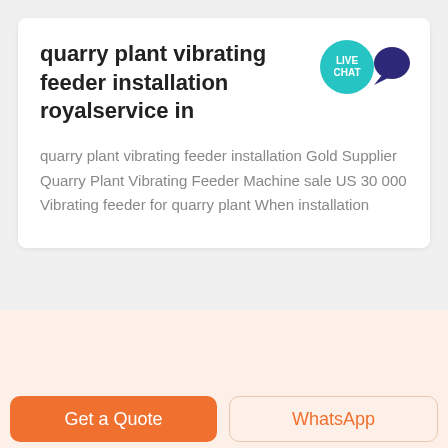quarry plant vibrating feeder installation royalservice in
quarry plant vibrating feeder installation Gold Supplier Quarry Plant Vibrating Feeder Machine sale US 30 000 Vibrating feeder for quarry plant When installation
[Figure (photo): Industrial machinery / vibrating feeder equipment in a quarry plant installation setting]
Get a Quote
WhatsApp